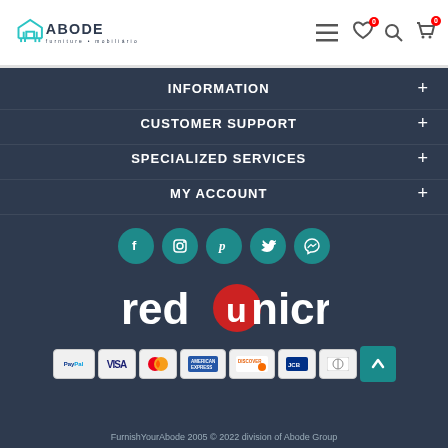[Figure (logo): Abode furniture mobiliario logo with house icon in teal]
Navigation header with hamburger menu, heart icon with badge 0, search icon, cart icon with badge 0
INFORMATION +
CUSTOMER SUPPORT +
SPECIALIZED SERVICES +
MY ACCOUNT +
[Figure (infographic): Social media icons: Facebook, Instagram, Pinterest, Twitter, Messenger in teal circles]
[Figure (logo): Redunicre logo in white and red on dark background]
[Figure (infographic): Payment method logos: PayPal, VISA, Mastercard, American Express, Discover, JCB, Diners Club, and scroll-to-top button]
FurnishYourAbode 2005 © 2022 division of Abode Group